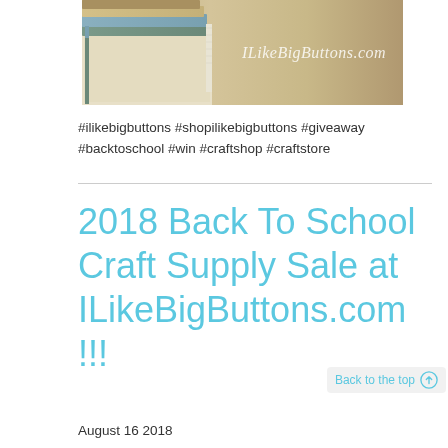[Figure (photo): Photo of stacked books on a wooden desk with ILikeBigButtons.com watermark text overlaid in white italic script]
#ilikebigbuttons #shopilikebigbuttons #giveaway #backtoschool #win #craftshop #craftstore
2018 Back To School Craft Supply Sale at ILikeBigButtons.com !!!
August 16 2018